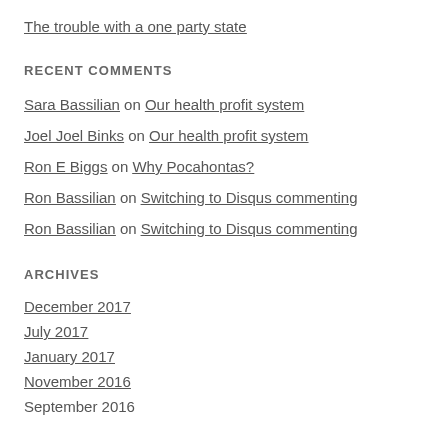The trouble with a one party state
RECENT COMMENTS
Sara Bassilian on Our health profit system
Joel Joel Binks on Our health profit system
Ron E Biggs on Why Pocahontas?
Ron Bassilian on Switching to Disqus commenting
Ron Bassilian on Switching to Disqus commenting
ARCHIVES
December 2017
July 2017
January 2017
November 2016
September 2016